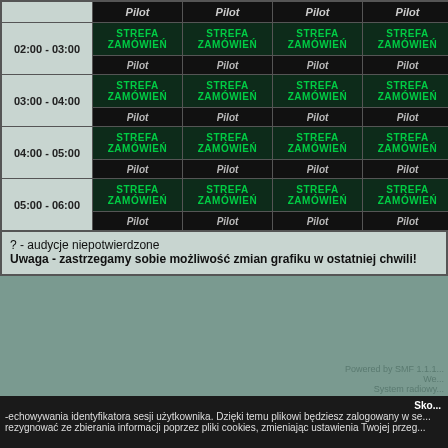|  | Pilot | Pilot | Pilot | Pilot |
| --- | --- | --- | --- | --- |
| 02:00 - 03:00 | STREFA ZAMÓWIEŃ
Pilot | STREFA ZAMÓWIEŃ
Pilot | STREFA ZAMÓWIEŃ
Pilot | STREFA ZAMÓWIEŃ
Pilot |
| 03:00 - 04:00 | STREFA ZAMÓWIEŃ
Pilot | STREFA ZAMÓWIEŃ
Pilot | STREFA ZAMÓWIEŃ
Pilot | STREFA ZAMÓWIEŃ
Pilot |
| 04:00 - 05:00 | STREFA ZAMÓWIEŃ
Pilot | STREFA ZAMÓWIEŃ
Pilot | STREFA ZAMÓWIEŃ
Pilot | STREFA ZAMÓWIEŃ
Pilot |
| 05:00 - 06:00 | STREFA ZAMÓWIEŃ
Pilot | STREFA ZAMÓWIEŃ
Pilot | STREFA ZAMÓWIEŃ
Pilot | STREFA ZAMÓWIEŃ
Pilot |
? - audycje niepotwierdzone
Uwaga - zastrzegamy sobie możliwość zmian grafiku w ostatniej chwili!
Powered by SMF 1.1.1...
We...
System radiowy...
Skorzystaj z możliwości przechowywania identyfikatora sesji użytkownika. Dzięki temu plikowi będziesz zalogowany w se... możesz zrezygnować ze zbierania informacji poprzez pliki cookies, zmieniając ustawienia Twojej przeg...